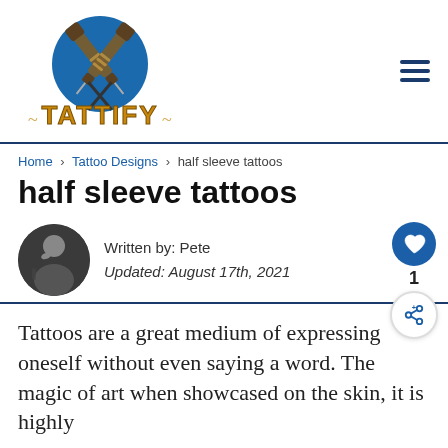[Figure (logo): Tattify logo with crossed tattoo machines and blue circle, text TATTIFY in gold/orange]
Home › Tattoo Designs › half sleeve tattoos
half sleeve tattoos
Written by: Pete
Updated: August 17th, 2021
Tattoos are a great medium of expressing oneself without even saying a word. The magic of art when showcased on the skin, it is highly influential to this generation of great humans.